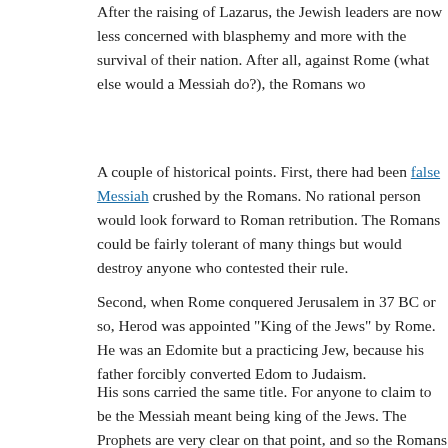After the raising of Lazarus, the Jewish leaders are now less concerned with blasphemy and more with the survival of their nation. After all, against Rome (what else would a Messiah do?), the Romans wo...
A couple of historical points. First, there had been false Messiahs crushed by the Romans. No rational person would look forward to Roman retribution. The Romans could be fairly tolerant of many things but would destroy anyone who contested their rule.
Second, when Rome conquered Jerusalem in 37 BC or so, Herod was appointed "King of the Jews" by Rome. He was an Edomite but a practicing Jew, because his father had forcibly converted Edom to Judaism.
His sons carried the same title. For anyone to claim to be the Messiah meant being King of the Jews. The Prophets are very clear on that point, and so the Romans would view anyone claiming to be the Messiah as a threat — and Rome would kill any false Messiah.
Rome allowed the Jews to continue the Temple worship and reli...